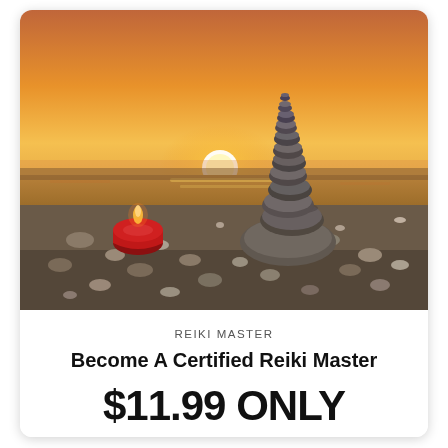[Figure (photo): Stacked zen stones balanced on a pebble beach at sunset with a red candle on the left side. Golden sunset light over water in the background.]
REIKI MASTER
Become A Certified Reiki Master
$11.99 ONLY